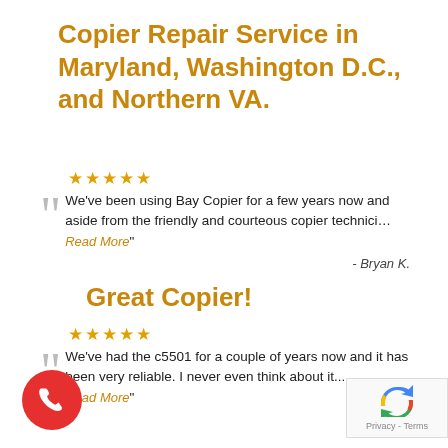Copier Repair Service in Maryland, Washington D.C., and Northern VA.
★★★★★
We've been using Bay Copier for a few years now and aside from the friendly and courteous copier technici…
Read More"
- Bryan K.
Great Copier!
★★★★★
We've had the c5501 for a couple of years now and it has been very reliable. I never even think about it....
Read More"
- C. Fahra
[Figure (other): Red phone call button (circle with phone handset icon)]
[Figure (other): reCAPTCHA badge with Privacy - Terms text]